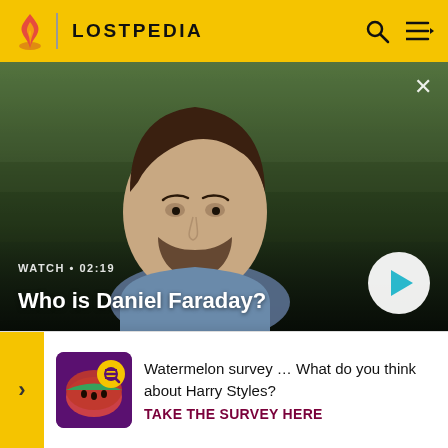LOSTPEDIA
[Figure (screenshot): Video thumbnail showing a man with dark hair and beard in a blue shirt against a green grassy background. Label: WATCH • 02:19, Title: Who is Daniel Faraday?]
someone he used to know. At the site of the bomb, after carefully examining it, Daniel found that it was leaking radi... g o... the b... neede... heir
Watermelon survey … What do you think about Harry Styles? TAKE THE SURVEY HERE